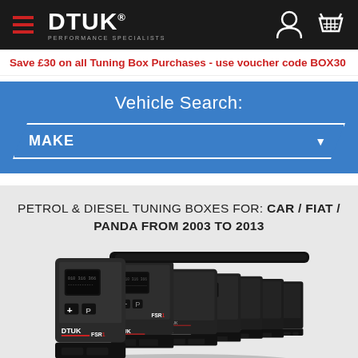DTUK Performance Specialists
Save £30 on all Tuning Box Purchases - use voucher code BOX30
Vehicle Search:
MAKE
PETROL & DIESEL TUNING BOXES FOR: CAR / FIAT / PANDA FROM 2003 TO 2013
[Figure (photo): Array of DTUK performance tuning boxes, multiple black electronic units arranged in a row, showing DTUK FSR1 branding]